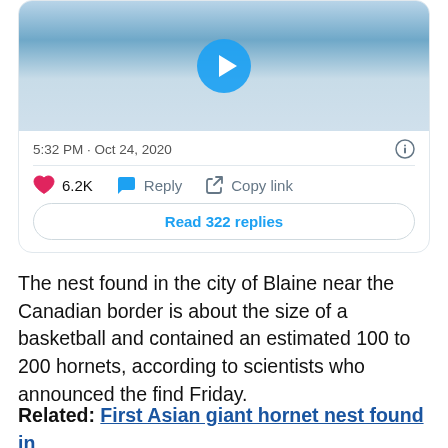[Figure (screenshot): Tweet card showing a video thumbnail of ice/liquid with a blue play button, timestamp '5:32 PM · Oct 24, 2020', like count 6.2K, Reply and Copy link actions, and a 'Read 322 replies' button.]
The nest found in the city of Blaine near the Canadian border is about the size of a basketball and contained an estimated 100 to 200 hornets, according to scientists who announced the find Friday.
Related: First Asian giant hornet nest found in